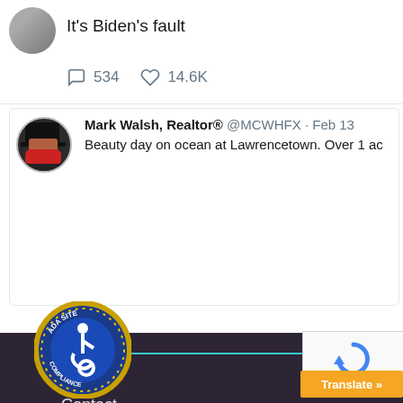It's Biden's fault
534  14.6K
Mark Walsh, Realtor® @MCWHFX · Feb 13
Beauty day on ocean at Lawrencetown. Over 1 ac
[Figure (screenshot): ADA Site Compliance accessibility badge/seal]
Home
Blog
Contact
k Walsh
For Sale
Translate »